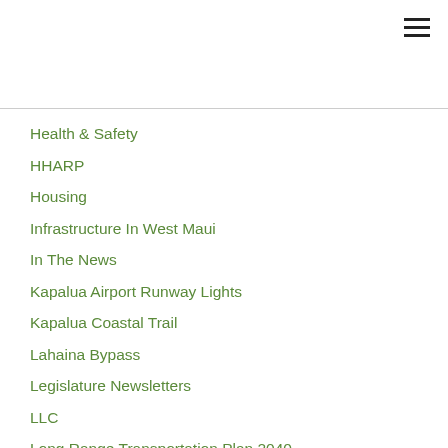[Figure (other): Hamburger menu icon (three horizontal lines) in top right corner]
Health & Safety
HHARP
Housing
Infrastructure In West Maui
In The News
Kapalua Airport Runway Lights
Kapalua Coastal Trail
Lahaina Bypass
Legislature Newsletters
LLC
Long Range Transportation Plan 2040
Long-Range Transportation Plan 2040
Makila
MAUI CANCER CENTER
Maui Cancer Center Llc
Maui County
Maui County Budget